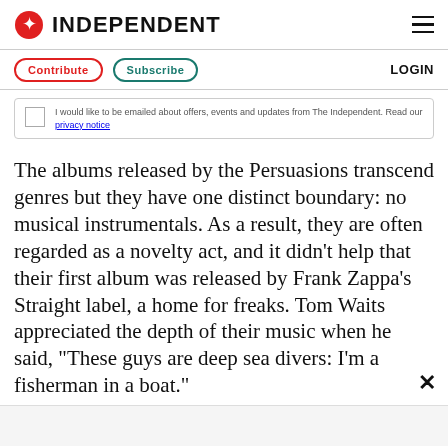INDEPENDENT
Contribute   Subscribe   LOGIN
I would like to be emailed about offers, events and updates from The Independent. Read our privacy notice
The albums released by the Persuasions transcend genres but they have one distinct boundary: no musical instrumentals. As a result, they are often regarded as a novelty act, and it didn't help that their first album was released by Frank Zappa's Straight label, a home for freaks. Tom Waits appreciated the depth of their music when he said, "These guys are deep sea divers: I'm a fisherman in a boat."